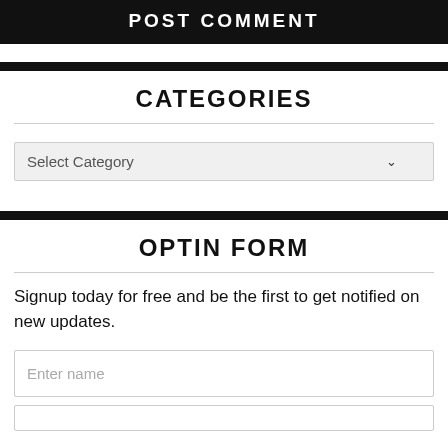[Figure (screenshot): POST COMMENT button — black background with white uppercase bold text]
CATEGORIES
[Figure (screenshot): Select Category dropdown input field]
OPTIN FORM
Signup today for free and be the first to get notified on new updates.
[Figure (screenshot): Enter name input field]
[Figure (screenshot): Second input field (partially visible at bottom)]